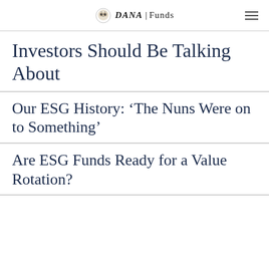DANA Funds
Investors Should Be Talking About
Our ESG History: ‘The Nuns Were on to Something’
Are ESG Funds Ready for a Value Rotation?